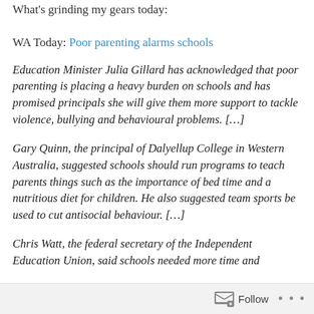What's grinding my gears today:
WA Today: Poor parenting alarms schools
Education Minister Julia Gillard has acknowledged that poor parenting is placing a heavy burden on schools and has promised principals she will give them more support to tackle violence, bullying and behavioural problems. […]
Gary Quinn, the principal of Dalyellup College in Western Australia, suggested schools should run programs to teach parents things such as the importance of bed time and a nutritious diet for children. He also suggested team sports be used to cut antisocial behaviour. […]
Chris Watt, the federal secretary of the Independent Education Union, said schools needed more time and
Follow